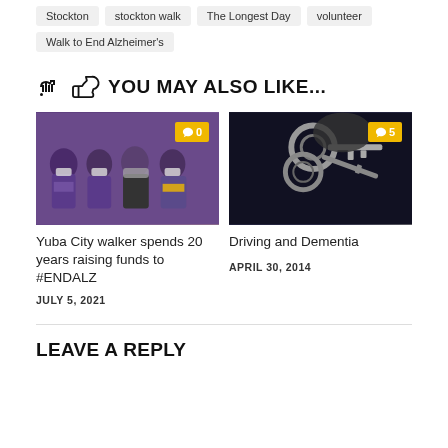Stockton
stockton walk
The Longest Day
volunteer
Walk to End Alzheimer's
YOU MAY ALSO LIKE...
[Figure (photo): Four women wearing purple shirts and masks posing together]
Yuba City walker spends 20 years raising funds to #ENDALZ
JULY 5, 2021
[Figure (photo): Close-up of keys on a keychain against dark background]
Driving and Dementia
APRIL 30, 2014
LEAVE A REPLY